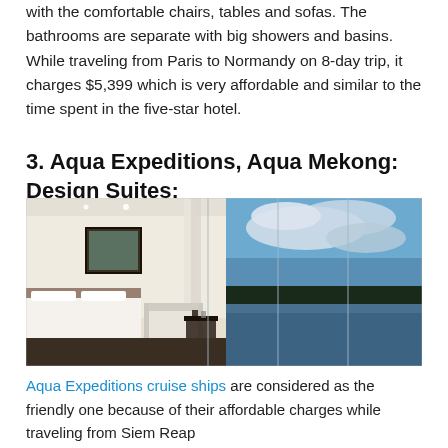with the comfortable chairs, tables and sofas. The bathrooms are separate with big showers and basins. While traveling from Paris to Normandy on 8-day trip, it charges $5,399 which is very affordable and similar to the time spent in the five-star hotel.
3. Aqua Expeditions, Aqua Mekong: Design Suites:
[Figure (photo): Hotel suite interior with white bed, white armchair, small side table, a framed picture on the wall, and floor-to-ceiling glass windows overlooking a river at dusk with blue sky and clouds reflected on the water.]
Aqua Expeditions cruise ships are considered as the friendly one because of their affordable charges while traveling from Siem Reap